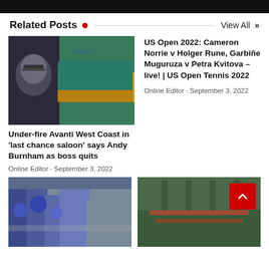[Figure (photo): Dark banner image at top of page]
Related Posts • View All »
[Figure (photo): Man with glasses standing in front of Avanti West Coast train]
Under-fire Avanti West Coast in 'last chance saloon' says Andy Burnham as boss quits
Online Editor · September 3, 2022
US Open 2022: Cameron Norrie v Holger Rune, Garbiñe Muguruza v Petra Kvitova – live! | US Open Tennis 2022
Online Editor · September 3, 2022
[Figure (photo): Police officers in riot gear at a doorway]
[Figure (photo): Aerial view of a city street with traffic]